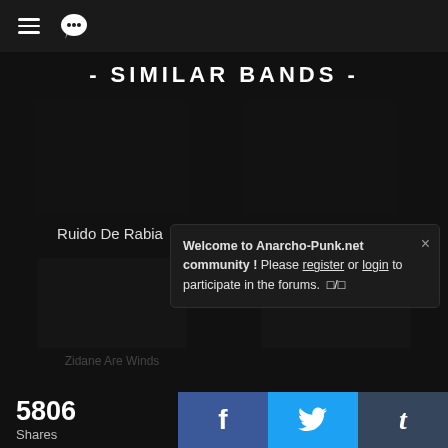≡  💬
- SIMILAR BANDS -
Ruido De Rabia
Firmeza 10
Welcome to Anarcho-Punk.net community ! Please register or login to participate in the forums.  □/□
5806 Shares
f
🐦
t